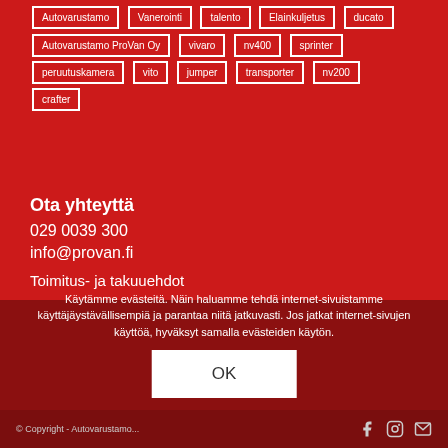Autovarustamo ProVan Oy
vivaro
nv400
sprinter
peruutuskamera
vito
jumper
transporter
nv200
crafter
Ota yhteyttä
029 0039 300
info@provan.fi
Toimitus- ja takuuehdot
Käytämme evästeitä. Näin haluamme tehdä internet-sivuistamme käyttäjäystävällisempiä ja parantaa niitä jatkuvasti. Jos jatkat internet-sivujen käyttöä, hyväksyt samalla evästeiden käytön.
OK
© Copyright - Autovarustamo...